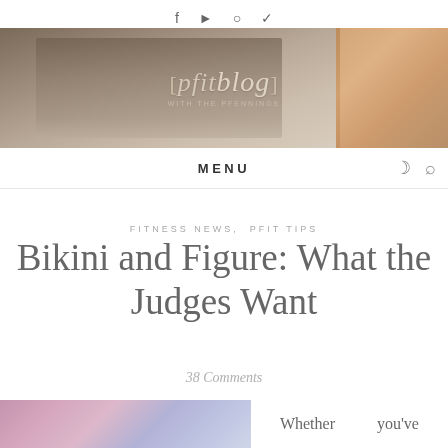f  ▶  ○  ✓
[Figure (photo): Website header banner showing a fit couple facing each other (man and woman in athletic wear) against a rooftop background, with 'pfit blog with the Pfennings' logo overlaid in italic script. Right side shows partial building photo.]
MENU  ☾  🔍
FITNESS NEWS,  PFIT TIPS
Bikini and Figure: What the Judges Want
38 Comments
[Figure (photo): Partial photo of bikini/figure competition contestants posing on stage.]
Whether   you've